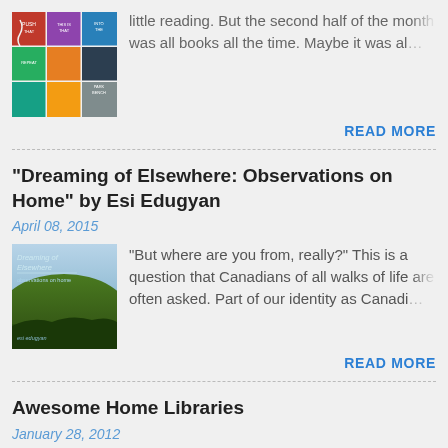[Figure (photo): Collage of book covers thumbnail]
little reading. But the second half of the month was all books all the time. Maybe it was al…
READ MORE
"Dreaming of Elsewhere: Observations on Home" by Esi Edugyan
April 08, 2015
[Figure (photo): Cover of Dreaming of Elsewhere book showing green hillside landscape]
"But where are you from, really?" This is a question that Canadians of all walks of life are often asked.  Part of our identity as Canadi…
READ MORE
Awesome Home Libraries
January 28, 2012